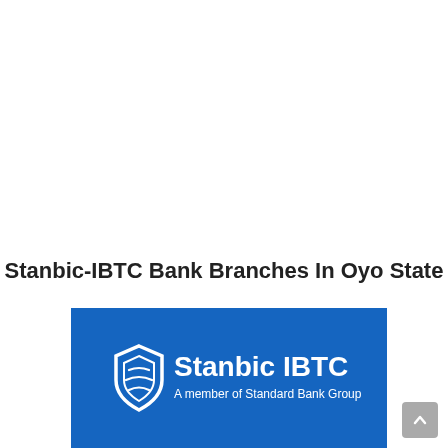Stanbic-IBTC Bank Branches In Oyo State
[Figure (logo): Stanbic IBTC logo on blue background with text 'Stanbic IBTC' and 'A member of Standard Bank Group']